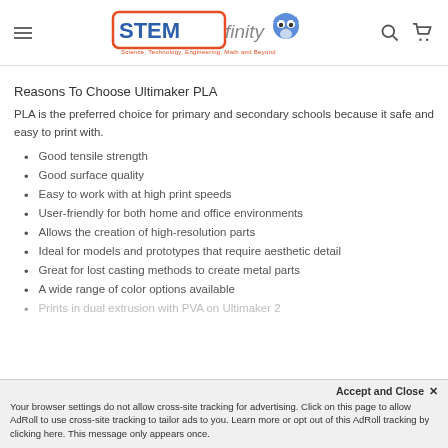STEMfinity — Science, Technology, Engineering, Math and Beyond
Reasons To Choose Ultimaker PLA
PLA is the preferred choice for primary and secondary schools because it safe and easy to print with.
Good tensile strength
Good surface quality
Easy to work with at high print speeds
User-friendly for both home and office environments
Allows the creation of high-resolution parts
Ideal for models and prototypes that require aesthetic detail
Great for lost casting methods to create metal parts
A wide range of color options available
Prints in dual extrusion with PVA on Ultimaker 2
Accept and Close ✕ Your browser settings do not allow cross-site tracking for advertising. Click on this page to allow AdRoll to use cross-site tracking to tailor ads to you. Learn more or opt out of this AdRoll tracking by clicking here. This message only appears once.